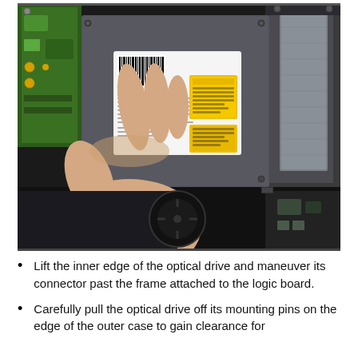[Figure (photo): A hand lifts the inner edge of an optical drive (DVD/CD drive) from inside a laptop computer. The optical drive shows manufacturer labels including Apple and LG logos. Green circuit board visible on the left, silver metallic casing of the drive, and laptop internals including fan and other components visible.]
Lift the inner edge of the optical drive and maneuver its connector past the frame attached to the logic board.
Carefully pull the optical drive off its mounting pins on the edge of the outer case to gain clearance for